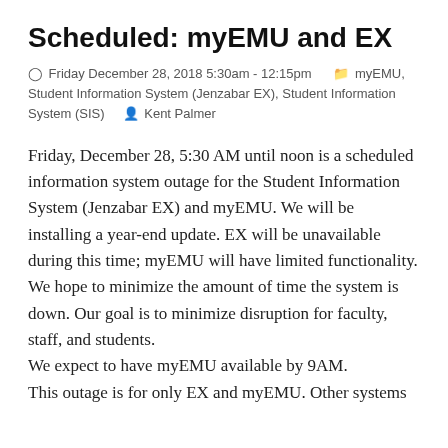Scheduled: myEMU and EX
⊙ Friday December 28, 2018 5:30am - 12:15pm   🗂 myEMU, Student Information System (Jenzabar EX), Student Information System (SIS)   👤 Kent Palmer
Friday, December 28, 5:30 AM until noon is a scheduled information system outage for the Student Information System (Jenzabar EX) and myEMU. We will be installing a year-end update. EX will be unavailable during this time; myEMU will have limited functionality.
We hope to minimize the amount of time the system is down. Our goal is to minimize disruption for faculty, staff, and students.
We expect to have myEMU available by 9AM.
This outage is for only EX and myEMU. Other systems